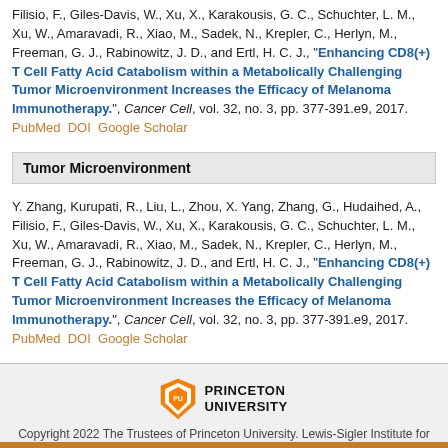Filisio, F., Giles-Davis, W., Xu, X., Karakousis, G. C., Schuchter, L. M., Xu, W., Amaravadi, R., Xiao, M., Sadek, N., Krepler, C., Herlyn, M., Freeman, G. J., Rabinowitz, J. D., and Ertl, H. C. J., "Enhancing CD8(+) T Cell Fatty Acid Catabolism within a Metabolically Challenging Tumor Microenvironment Increases the Efficacy of Melanoma Immunotherapy.", Cancer Cell, vol. 32, no. 3, pp. 377-391.e9, 2017. PubMed DOI Google Scholar
Tumor Microenvironment
Y. Zhang, Kurupati, R., Liu, L., Zhou, X. Yang, Zhang, G., Hudaihed, A., Filisio, F., Giles-Davis, W., Xu, X., Karakousis, G. C., Schuchter, L. M., Xu, W., Amaravadi, R., Xiao, M., Sadek, N., Krepler, C., Herlyn, M., Freeman, G. J., Rabinowitz, J. D., and Ertl, H. C. J., "Enhancing CD8(+) T Cell Fatty Acid Catabolism within a Metabolically Challenging Tumor Microenvironment Increases the Efficacy of Melanoma Immunotherapy.", Cancer Cell, vol. 32, no. 3, pp. 377-391.e9, 2017. PubMed DOI Google Scholar
Copyright 2022 The Trustees of Princeton University. Lewis-Sigler Institute for Integrative Genomics. Shortcuts FAQs Contact Issues?